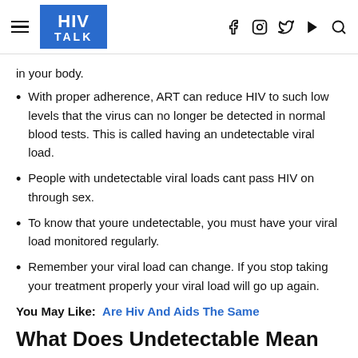HIV TALK
in your body.
With proper adherence, ART can reduce HIV to such low levels that the virus can no longer be detected in normal blood tests. This is called having an undetectable viral load.
People with undetectable viral loads cant pass HIV on through sex.
To know that youre undetectable, you must have your viral load monitored regularly.
Remember your viral load can change. If you stop taking your treatment properly your viral load will go up again.
You May Like:  Are Hiv And Aids The Same
What Does Undetectable Mean